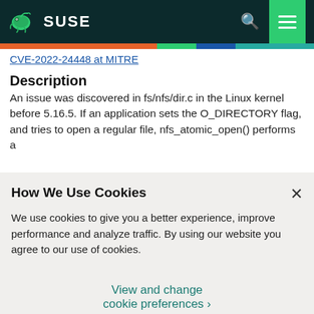SUSE
CVE-2022-24448 at MITRE
Description
An issue was discovered in fs/nfs/dir.c in the Linux kernel before 5.16.5. If an application sets the O_DIRECTORY flag, and tries to open a regular file, nfs_atomic_open() performs a
How We Use Cookies
We use cookies to give you a better experience, improve performance and analyze traffic. By using our website you agree to our use of cookies.
View and change cookie preferences >